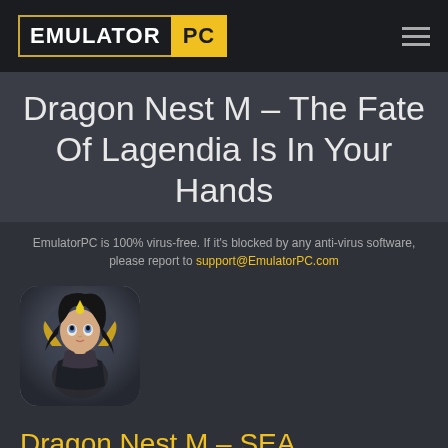EMULATOR PC
Dragon Nest M – The Fate Of Lagendia Is In Your Hands
EmulatorPC is 100% virus-free. If it's blocked by any anti-virus software, please report to support@EmulatorPC.com
[Figure (illustration): Dragon Nest M game app icon showing an anime-style female character with black hair and fantasy armor]
Dragon Nest M – SEA
Developer: SIAMGAME